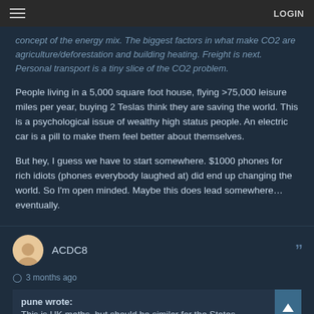LOGIN
concept of the energy mix. The biggest factors in what make CO2 are agriculture/deforestation and building heating. Freight is next. Personal transport is a tiny slice of the CO2 problem.

People living in a 5,000 square foot house, flying >75,000 leisure miles per year, buying 2 Teslas think they are saving the world. This is a psychological issue of wealthy high status people. An electric car is a pill to make them feel better about themselves.

But hey, I guess we have to start somewhere. $1000 phones for rich idiots (phones everybody laughed at) did end up changing the world. So I'm open minded. Maybe this does lead somewhere… eventually.
ACDC8
3 months ago
pune wrote:
This is UK maths, but should be similar for the States
Math plays second fiddle to polices. What happens in one country does not happen in another. Seriously, how many times do we have to go